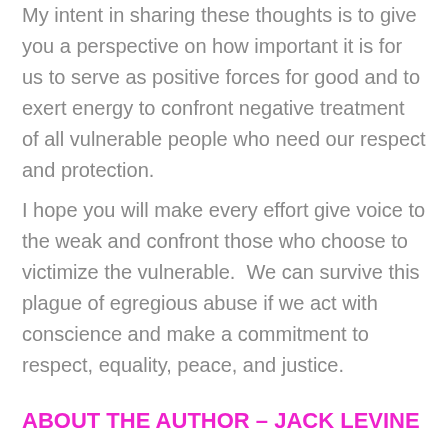My intent in sharing these thoughts is to give you a perspective on how important it is for us to serve as positive forces for good and to exert energy to confront negative treatment of all vulnerable people who need our respect and protection.
I hope you will make every effort give voice to the weak and confront those who choose to victimize the vulnerable.  We can survive this plague of egregious abuse if we act with conscience and make a commitment to respect, equality, peace, and justice.
ABOUT THE AUTHOR – JACK LEVINE